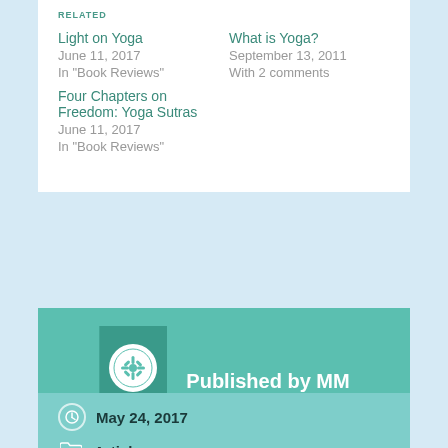RELATED
Light on Yoga
June 11, 2017
In "Book Reviews"
What is Yoga?
September 13, 2011
With 2 comments
Four Chapters on Freedom: Yoga Sutras
June 11, 2017
In "Book Reviews"
Published by MM
View all posts by MM
May 24, 2017
Articles